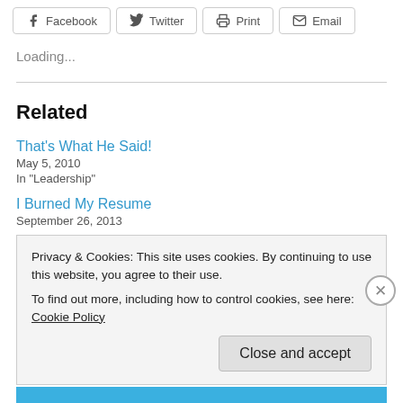[Figure (other): Share buttons row: Facebook, Twitter, Print, Email]
Loading...
Related
That's What He Said!
May 5, 2010
In "Leadership"
I Burned My Resume
September 26, 2013
Privacy & Cookies: This site uses cookies. By continuing to use this website, you agree to their use.
To find out more, including how to control cookies, see here: Cookie Policy
Close and accept